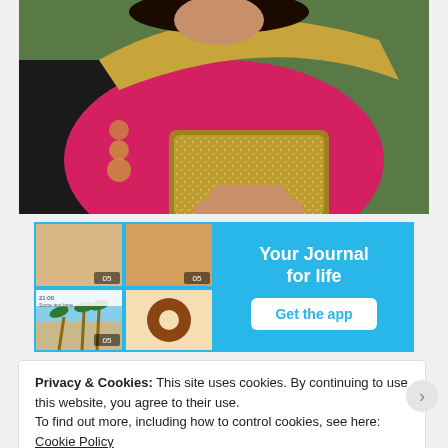[Figure (photo): Woman in a pink and gold saree holding a gold glittery clutch bag, with green foliage in the background. She is wearing a dark blouse with gold embroidery.]
[Figure (screenshot): App advertisement banner with sky-blue background. Left side shows a 2x2 grid of app screenshots. Right side shows text 'Your Journal for life' and a white 'Get the app' button.]
Privacy & Cookies: This site uses cookies. By continuing to use this website, you agree to their use.
To find out more, including how to control cookies, see here: Cookie Policy
Close and accept